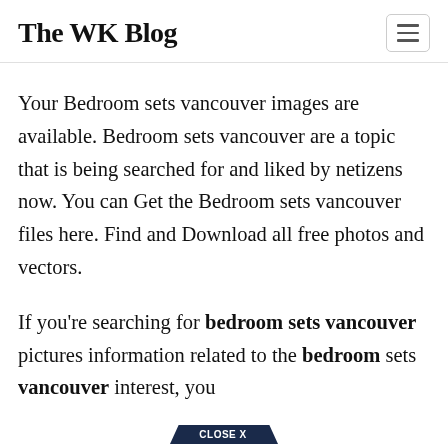The WK Blog
Your Bedroom sets vancouver images are available. Bedroom sets vancouver are a topic that is being searched for and liked by netizens now. You can Get the Bedroom sets vancouver files here. Find and Download all free photos and vectors.
If you're searching for bedroom sets vancouver pictures information related to the bedroom sets vancouver interest, you